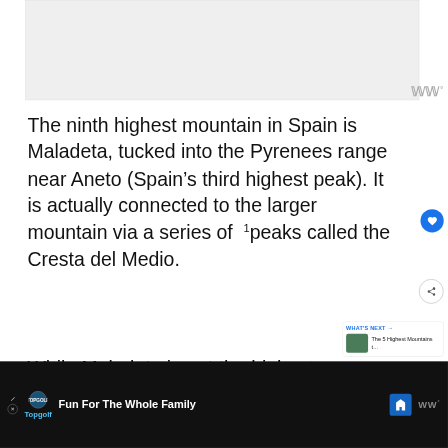[Figure (screenshot): Grey placeholder image area at top of article page]
The ninth highest mountain in Spain is Maladeta, tucked into the Pyrenees range near Aneto (Spain’s third highest peak). It is actually connected to the larger mountain via a series of¹ peaks called the Cresta del Medio.
While Maladeta is not the highest mountain in Spain, it is certainly one
[Figure (screenshot): Advertisement bar at bottom: Topgolf Fun For The Whole Family]
WHAT’S NEXT → The 5 Highest Mountains t…